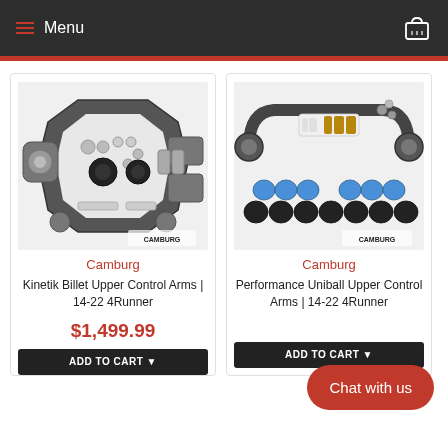Menu
[Figure (photo): Camburg Kinetik Billet Upper Control Arms kit for 14-22 4Runner, showing the billet aluminum control arm component with bolts and hardware spread out on white background]
Camburg
Kinetik Billet Upper Control Arms | 14-22 4Runner
$1,499.99
ADD TO CART
[Figure (photo): Camburg Performance Uniball Upper Control Arms for 14-22 4Runner, showing the tubular steel control arms with end links and hardware on white background]
Camburg
Performance Uniball Upper Control Arms | 14-22 4Runner
ADD TO CART
Chat with us